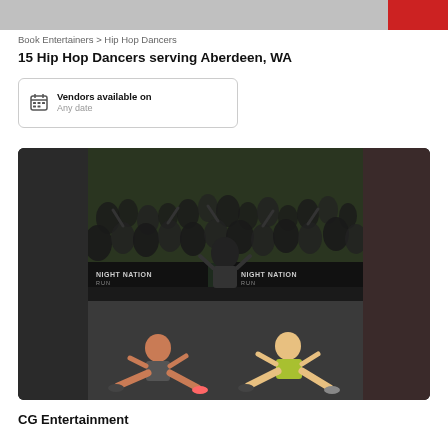[Figure (photo): Top banner with blurred image and red accent on right]
Book Entertainers > Hip Hop Dancers
15 Hip Hop Dancers serving Aberdeen, WA
Vendors available on
Any date
[Figure (photo): Performance photo showing Night Nation Run event with dancers on stage and crowd in background. Two female dancers in the foreground doing splits, a male dancer standing in the middle. Night Nation Run banners visible in background.]
CG Entertainment